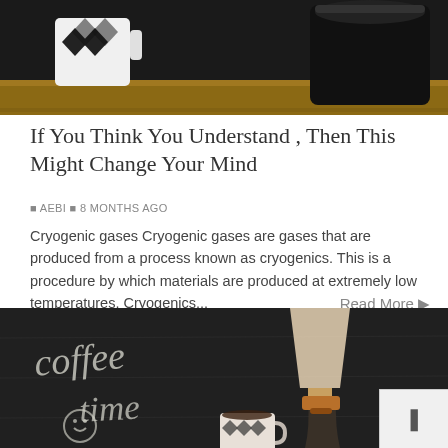[Figure (photo): Top portion of a photo showing a black-and-white diamond-patterned mug and a dark container on a wooden surface against a dark background.]
If You Think You Understand , Then This Might Change Your Mind
▪ AEBI ▪ 8 MONTHS AGO
Cryogenic gases Cryogenic gases are gases that are produced from a process known as cryogenics. This is a procedure by which materials are produced at extremely low temperatures. Cryogenics...
Read More ▶
[Figure (photo): Photo of a chalkboard with 'coffee time' written in chalk with a smiley face, and a Chemex coffee maker with a paper filter alongside a patterned espresso cup on a dark background.]